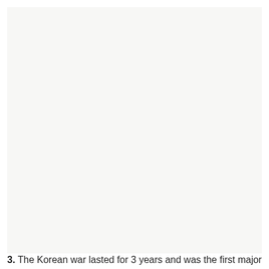[Figure (other): Large blank light-gray rectangular area occupying most of the page]
3. The Korean war lasted for 3 years and was the first major